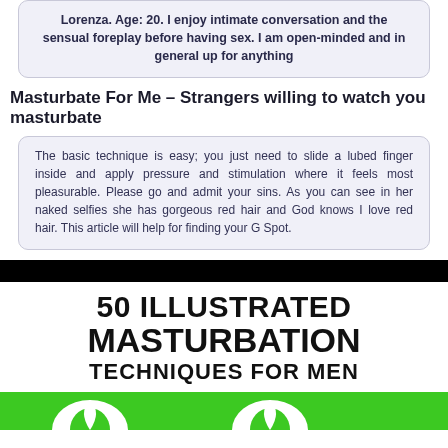Lorenza. Age: 20. I enjoy intimate conversation and the sensual foreplay before having sex. I am open-minded and in general up for anything
Masturbate For Me – Strangers willing to watch you masturbate
The basic technique is easy; you just need to slide a lubed finger inside and apply pressure and stimulation where it feels most pleasurable. Please go and admit your sins. As you can see in her naked selfies she has gorgeous red hair and God knows I love red hair. This article will help for finding your G Spot.
[Figure (illustration): Black horizontal bar followed by book cover text reading '50 ILLUSTRATED MASTURBATION TECHNIQUES FOR MEN' in large bold black text on white background, with a green strip at the bottom featuring leaf/plant illustrations]